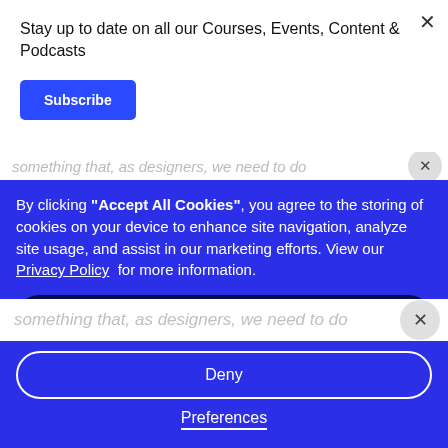Stay up to date on all our Courses, Events, Content & Podcasts
Subscribe
something that, as designers, we need to do
By clicking "Accept All Cookies", you agree to the storing of cookies on your device to enhance site navigation, analyze site usage, and assist in our marketing efforts. View our Privacy Policy for more information.
Accept
Deny
Preferences